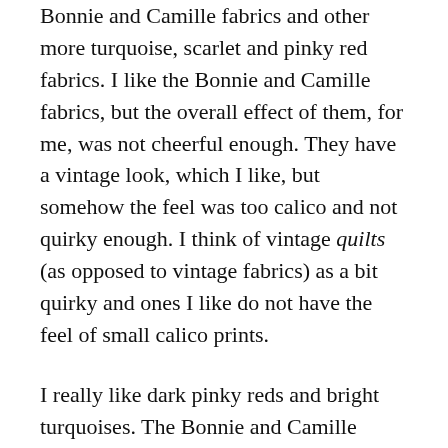Bonnie and Camille fabrics and other more turquoise, scarlet and pinky red fabrics. I like the Bonnie and Camille fabrics, but the overall effect of them, for me, was not cheerful enough. They have a vintage look, which I like, but somehow the feel was too calico and not quirky enough. I think of vintage quilts (as opposed to vintage fabrics) as a bit quirky and ones I like do not have the feel of small calico prints.
I really like dark pinky reds and bright turquoises. The Bonnie and Camille fabrics have softer turquoises, tending towards light blue and a lot of orangey reds.
It is interesting how once you...